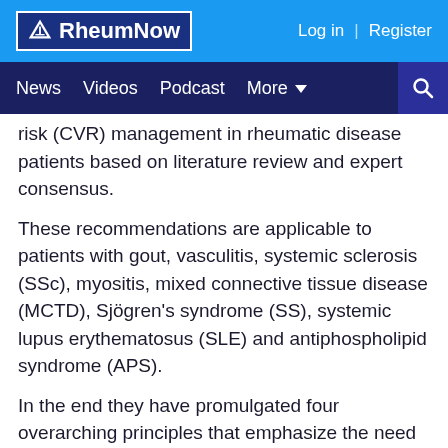RheumNow | Log in | Register
News  Videos  Podcast  More
risk (CVR) management in rheumatic disease patients based on literature review and expert consensus.
These recommendations are applicable to patients with gout, vasculitis, systemic sclerosis (SSc), myositis, mixed connective tissue disease (MCTD), Sjögren's syndrome (SS), systemic lupus erythematosus (SLE) and antiphospholipid syndrome (APS).
In the end they have promulgated four overarching principles that emphasize the need of regular screening and management of modifiable CVR factors and patient education.